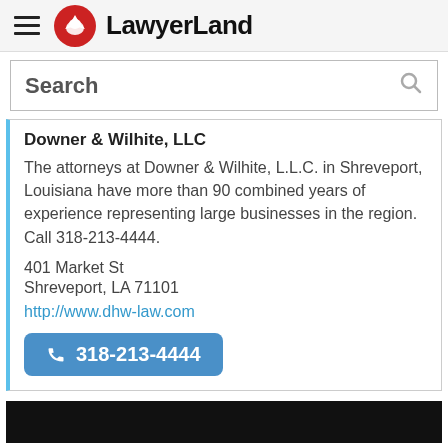LawyerLand
Search
Downer & Wilhite, LLC
The attorneys at Downer & Wilhite, L.L.C. in Shreveport, Louisiana have more than 90 combined years of experience representing large businesses in the region. Call 318-213-4444.
401 Market St
Shreveport, LA 71101
http://www.dhw-law.com
318-213-4444
[Figure (photo): Dark/black image strip at the bottom of the page]